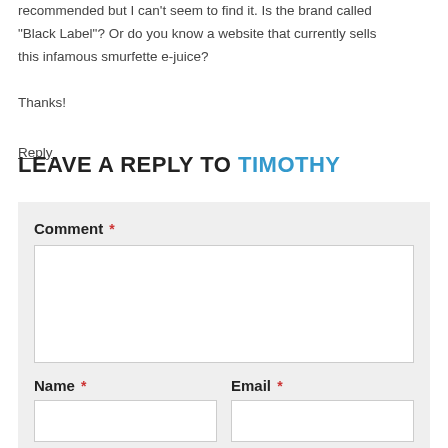recommended but I can't seem to find it. Is the brand called "Black Label"? Or do you know a website that currently sells this infamous smurfette e-juice?

Thanks!
Reply
LEAVE A REPLY TO TIMOTHY
Comment *
Name *
Email *